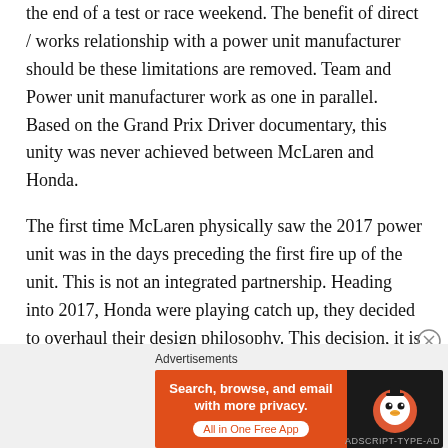the end of a test or race weekend. The benefit of direct / works relationship with a power unit manufacturer should be these limitations are removed. Team and Power unit manufacturer work as one in parallel. Based on the Grand Prix Driver documentary, this unity was never achieved between McLaren and Honda.
The first time McLaren physically saw the 2017 power unit was in the days preceding the first fire up of the unit. This is not an integrated partnership. Heading into 2017, Honda were playing catch up, they decided to overhaul their design philosophy. This decision, it is implied, was one McLaren did not have a say in. After taking such a decision, communication between McLaren and Honda should have been continuous, when it came to installing the power unit there should have
Advertisements
[Figure (infographic): DuckDuckGo advertisement banner: orange left panel with text 'Search, browse, and email with more privacy. All in One Free App' and dark right panel with DuckDuckGo logo.]